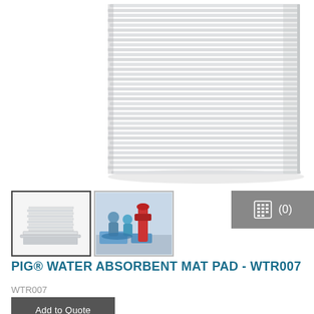[Figure (photo): Large close-up photo of a tall stack of white/gray absorbent mat pads stacked on top of each other, showing layered edges against a white background]
[Figure (photo): Thumbnail 1: Small image of a stack of PIG water absorbent mat pads shown from an angle]
[Figure (photo): Thumbnail 2: Small image of workers in blue protective gear placing blue absorbent mats around industrial pipes/equipment]
(0)
PIG® WATER ABSORBENT MAT PAD - WTR007
WTR007
Add to Quote